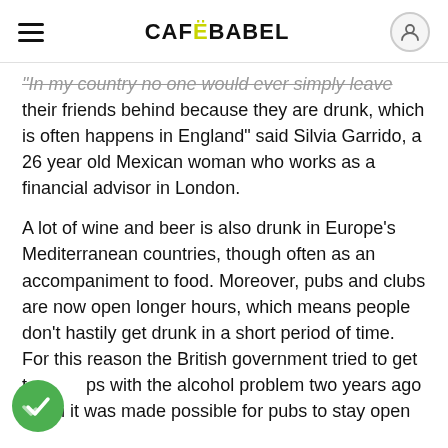CAFEBABEL
"In my country no one would ever simply leave their friends behind because they are drunk, which is often happens in England" said Silvia Garrido, a 26 year old Mexican woman who works as a financial advisor in London.
A lot of wine and beer is also drunk in Europe's Mediterranean countries, though often as an accompaniment to food. Moreover, pubs and clubs are now open longer hours, which means people don't hastily get drunk in a short period of time. For this reason the British government tried to get to grips with the alcohol problem two years ago when it was made possible for pubs to stay open